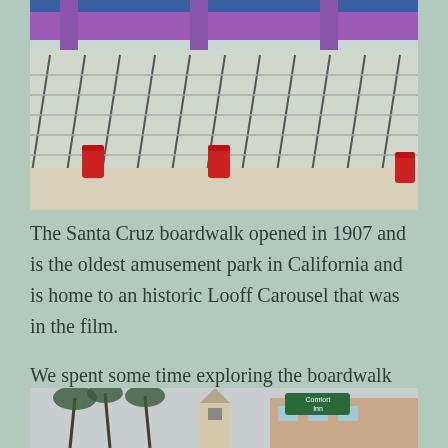[Figure (photo): Outdoor photo of Santa Cruz boardwalk area showing steps/bleachers with metal railings, red trash cans on sandy ground, and a colorful purple/pink building in the background]
The Santa Cruz boardwalk opened in 1907 and is the oldest amusement park in California and is home to an historic Looff Carousel that was in the film.
We spent some time exploring the boardwalk and bought a couple of Santa Cruz t-shirts.
[Figure (photo): Street-level photo showing palm trees, a church bell tower/steeple, and a building with a green Comfort Inn sign visible]